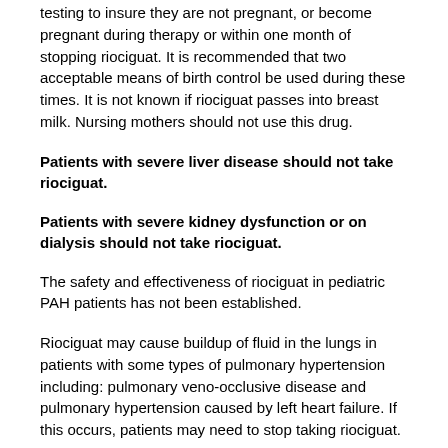testing to insure they are not pregnant, or become pregnant during therapy or within one month of stopping riociguat. It is recommended that two acceptable means of birth control be used during these times. It is not known if riociguat passes into breast milk. Nursing mothers should not use this drug.
Patients with severe liver disease should not take riociguat.
Patients with severe kidney dysfunction or on dialysis should not take riociguat.
The safety and effectiveness of riociguat in pediatric PAH patients has not been established.
Riociguat may cause buildup of fluid in the lungs in patients with some types of pulmonary hypertension including: pulmonary veno-occlusive disease and pulmonary hypertension caused by left heart failure. If this occurs, patients may need to stop taking riociguat.
Could a patient be allergic to riociguat?